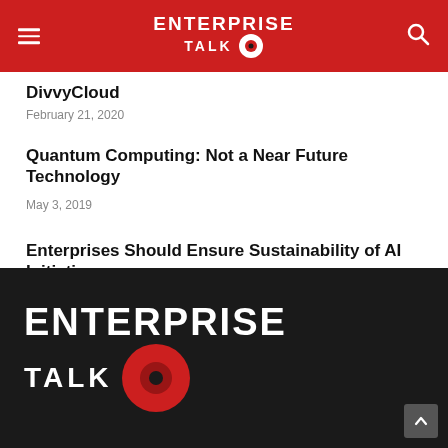ENTERPRISE TALK
DivvyCloud
February 21, 2020
Quantum Computing: Not a Near Future Technology
May 3, 2019
Enterprises Should Ensure Sustainability of AI Initiatives
January 27, 2022
ENTERPRISE TALK